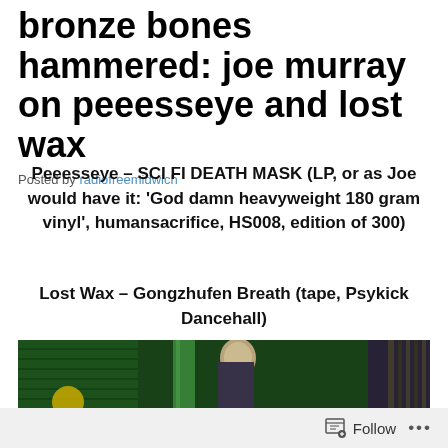bronze bones hammered: joe murray on peeesseye and lost wax
Posted by radiofreemidwich
Peeesseye – SCI FI DEATH MASK (LP, or as Joe would have it: ‘God damn heavyweight 180 gram vinyl’, humansacrifice, HS008, edition of 300)
Lost Wax – Gongzhufen Breath (tape, Psykick Dancehall)
[Figure (photo): A person holding or wearing a mask in a dark industrial setting with green-lit brick walls and metal structures]
Follow ...